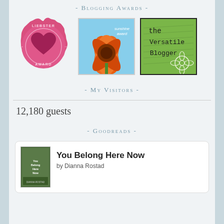- Blogging Awards -
[Figure (illustration): Three blogging award badges: Liebster Award (pink scalloped circle with heart), Sunshine Award (orange flower on blue sky), The Versatile Blogger (green background with handwritten text and flower)]
- My Visitors -
12,180 guests
- Goodreads -
You Belong Here Now by Dianna Rostad